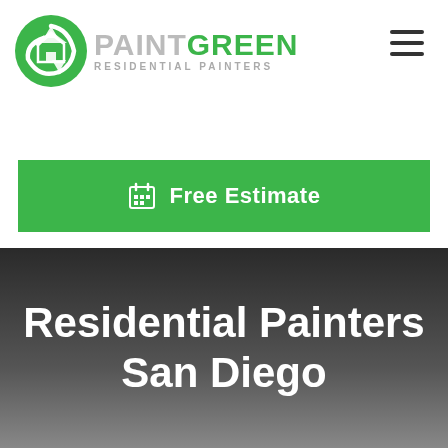[Figure (logo): PaintGreen Residential Painters logo with green circular recycling-style house icon and text]
≡ (hamburger menu icon)
🗓 Free Estimate
Residential Painters San Diego